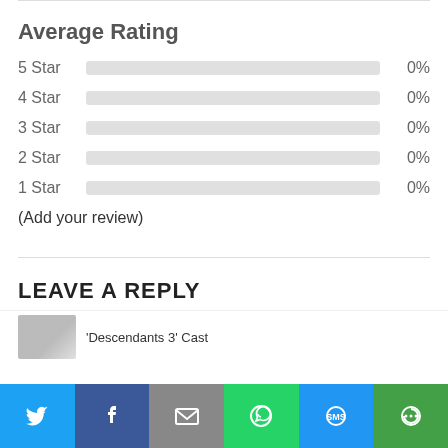Average Rating
[Figure (bar-chart): Average Rating]
(Add your review)
LEAVE A REPLY
'Descendants 3' Cast
Twitter | Facebook | Email | WhatsApp | SMS | More